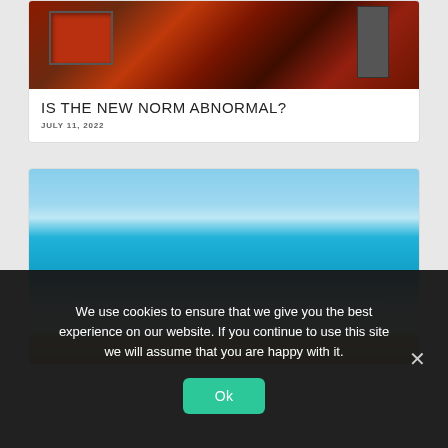[Figure (photo): Industrial machinery with red/rust-colored metal equipment, chains, pipes and cables]
IS THE NEW NORM ABNORMAL?
JULY 11, 2022
[Figure (photo): A sandy beach with clear turquoise/blue water, small boats visible in the distance, mountains on the horizon under a blue sky]
We use cookies to ensure that we give you the best experience on our website. If you continue to use this site we will assume that you are happy with it.